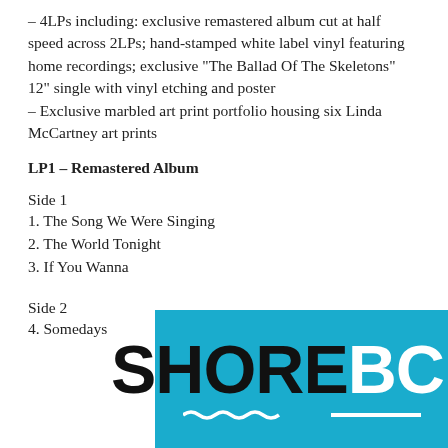– 4LPs including: exclusive remastered album cut at half speed across 2LPs; hand-stamped white label vinyl featuring home recordings; exclusive “The Ballad Of The Skeletons” 12” single with vinyl etching and poster
– Exclusive marbled art print portfolio housing six Linda McCartney art prints
LP1 – Remastered Album
Side 1
1. The Song We Were Singing
2. The World Tonight
3. If You Wanna
Side 2
4. Somedays
[Figure (logo): SHORE BCN logo on a cyan/teal background, with SHORE in black bold sans-serif and BCN in white bold sans-serif, with a wavy underline beneath SHORE and a solid line beneath BCN]